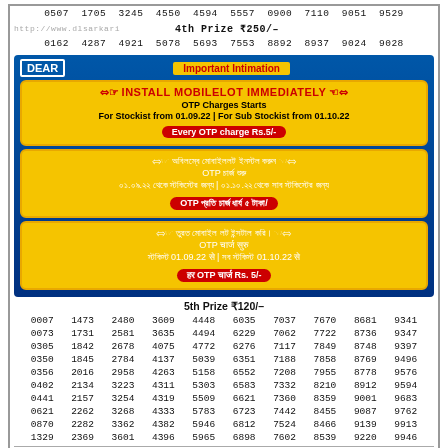0507 1705 3245 4550 4594 5557 0900 7110 9051 9529
http://www.dlsarkari   4th Prize ₹250/-
0162 4287 4921 5078 5693 7553 8892 8937 9024 9028
[Figure (infographic): Dear lottery advertisement banner with blue background. Contains 'Important Intimation' header and instructions to install MobileLot in English, Bengali, and Hindi. Yellow boxes with red text about OTP charges.]
5th Prize ₹120/-
| 0007 | 1473 | 2480 | 3609 | 4448 | 6035 | 7037 | 7670 | 8681 | 9341 |
| 0073 | 1731 | 2581 | 3635 | 4494 | 6229 | 7062 | 7722 | 8736 | 9347 |
| 0305 | 1842 | 2678 | 4075 | 4772 | 6276 | 7117 | 7849 | 8748 | 9397 |
| 0350 | 1845 | 2784 | 4137 | 5039 | 6351 | 7188 | 7858 | 8769 | 9496 |
| 0356 | 2016 | 2958 | 4263 | 5158 | 6552 | 7208 | 7955 | 8778 | 9576 |
| 0402 | 2134 | 3223 | 4311 | 5303 | 6583 | 7332 | 8210 | 8912 | 9594 |
| 0441 | 2157 | 3254 | 4319 | 5509 | 6621 | 7360 | 8359 | 9001 | 9683 |
| 0621 | 2262 | 3268 | 4333 | 5783 | 6723 | 7442 | 8455 | 9087 | 9762 |
| 0870 | 2282 | 3362 | 4382 | 5946 | 6812 | 7524 | 8466 | 9139 | 9913 |
| 1329 | 2369 | 3601 | 4396 | 5965 | 6898 | 7602 | 8539 | 9220 | 9946 |
Please check the results with relevant Official Government Gazette
01:00 PM  RESULT 10/08/2022
Sambad Lottery Today Result 10-8-2022 (6:00 PM)